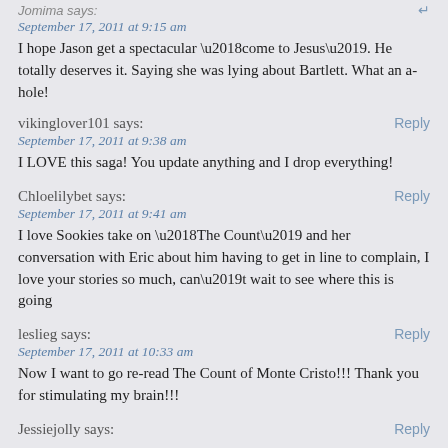Jomima says:
September 17, 2011 at 9:15 am
I hope Jason get a spectacular ‘come to Jesus’. He totally deserves it. Saying she was lying about Bartlett. What an a-hole!
vikinglover101 says:
September 17, 2011 at 9:38 am
I LOVE this saga! You update anything and I drop everything!
Chloelilybet says:
September 17, 2011 at 9:41 am
I love Sookies take on ‘The Count’ and her conversation with Eric about him having to get in line to complain, I love your stories so much, can’t wait to see where this is going
leslieg says:
September 17, 2011 at 10:33 am
Now I want to go re-read The Count of Monte Cristo!!! Thank you for stimulating my brain!!!
Jessiejolly says: